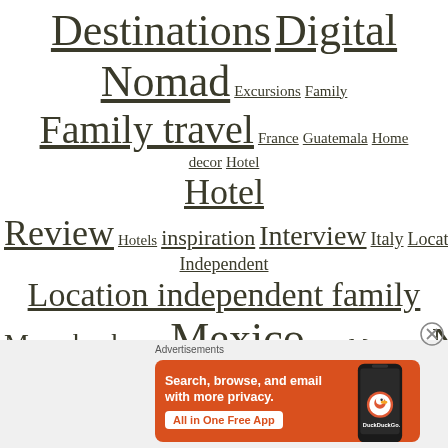[Figure (infographic): Tag cloud for a travel blog showing categories of varying sizes: Destinations, Digital Nomad, Excursions, Family, Family travel, France, Guatemala, Home decor, Hotel, Hotel Review, Hotels, inspiration, Interview, Italy, Location Independent, Location independent family, Marrakech, Meet, Mexico, Milan, Morocco, New post, Our Latin American Adventure, Photo diary, Photography, Podcasts, Provence, Q&A, SagradaFamilia, Scandinavia, Spain, Travel, Travel blogging, Traveler, Travel guide, Travel Guides, Travel]
[Figure (screenshot): DuckDuckGo advertisement banner: Search, browse, and email with more privacy. All in One Free App. Shows a phone with DuckDuckGo logo.]